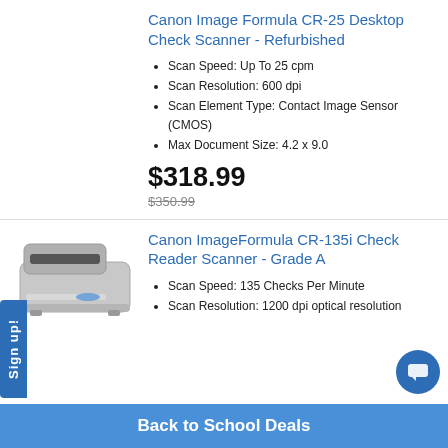Canon Image Formula CR-25 Desktop Check Scanner - Refurbished
Scan Speed: Up To 25 cpm
Scan Resolution: 600 dpi
Scan Element Type: Contact Image Sensor (CMOS)
Max Document Size: 4.2 x 9.0
$318.99
$350.99
[Figure (photo): Canon ImageFormula CR-135i check reader scanner device, gray and white colored.]
Canon ImageFormula CR-135i Check Reader Scanner - Grade A
Scan Speed: 135 Checks Per Minute
Scan Resolution: 1200 dpi optical resolution
Back to School Deals